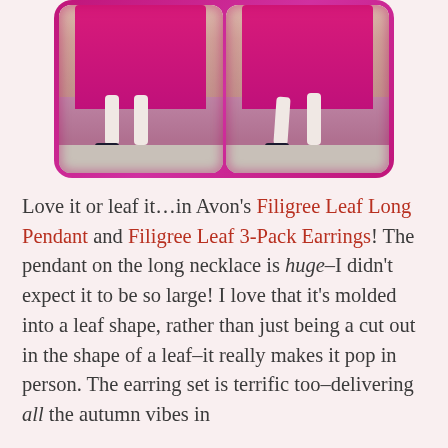[Figure (photo): Two side-by-side photos in a glittery magenta/pink border frame, showing the lower body of a person wearing a magenta/hot pink dress and black flat shoes. The images are nearly identical, showing legs and feet against a wooden door background.]
Love it or leaf it…in Avon's Filigree Leaf Long Pendant and Filigree Leaf 3-Pack Earrings! The pendant on the long necklace is huge–I didn't expect it to be so large! I love that it's molded into a leaf shape, rather than just being a cut out in the shape of a leaf–it really makes it pop in person. The earring set is terrific too–delivering all the autumn vibes in